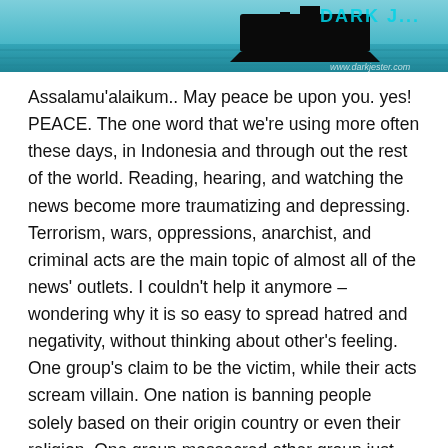[Figure (photo): Header image showing a dark ship on blue water with text overlay and watermark 'www.darkjester.com']
Assalamu'alaikum.. May peace be upon you. yes! PEACE. The one word that we're using more often these days, in Indonesia and through out the rest of the world. Reading, hearing, and watching the news become more traumatizing and depressing. Terrorism, wars, oppressions, anarchist, and criminal acts are the main topic of almost all of the news' outlets. I couldn't help it anymore – wondering why it is so easy to spread hatred and negativity, without thinking about other's feeling. One group's claim to be the victim, while their acts scream villain. One nation is banning people solely based on their origin country or even their religion. One group massacred other group just because they were different. A killing spree in random places by a person, just to be accepted in one criminal group. ah.. I could going all day listing all the terros happening in our reality now, but